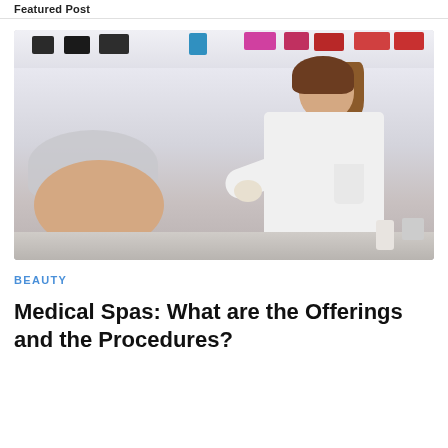Featured Post
[Figure (photo): A medical professional in a white coat administering an injection or cosmetic procedure to a patient wearing a hair net, in a medical spa or clinic setting with product shelves in the background.]
BEAUTY
Medical Spas: What are the Offerings and the Procedures?